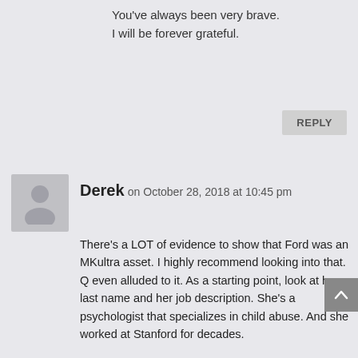You've always been very brave.
I will be forever grateful.
REPLY
Derek on October 28, 2018 at 10:45 pm
There's a LOT of evidence to show that Ford was an MKultra asset. I highly recommend looking into that. Q even alluded to it. As a starting point, look at her last name and her job description. She's a psychologist that specializes in child abuse. And she worked at Stanford for decades.
And like you David, I was "on the left" to a significant level before this. The whole thing has really helped open-minded people to realize that partisan politics is as fake as a three dollar bill.
As far as the "8chan hitler thing" goes, that board is filled with paid trolls. Just spend any serious length of time there. It's probably 60% cabal. Nothing but porn to distract